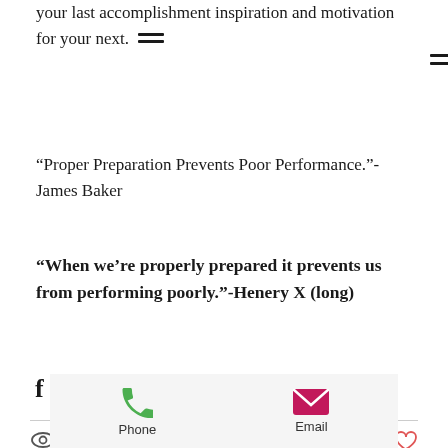your last accomplishment inspiration and motivation for your next.
“Proper Preparation Prevents Poor Performance.”-James Baker
“When we’re properly prepared it prevents us from performing poorly.”-Henery X (long)
[Figure (infographic): Social sharing icons: Facebook, Twitter, LinkedIn, and a link/chain icon]
[Figure (infographic): Post interaction bar: eye/views icon with count 0, comment icon, and a heart/like icon on the right]
[Figure (infographic): Footer bar with Phone (green phone icon) and Email (magenta envelope icon) options]